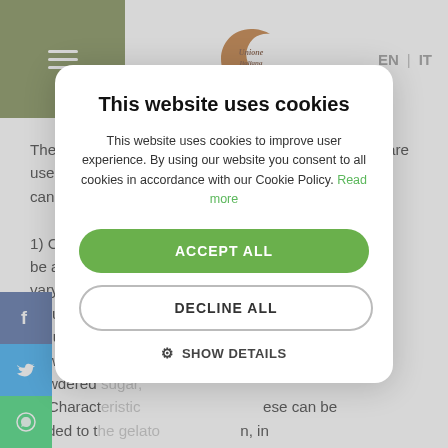Unione Italiana Food — EN | IT
These preparations are typical in Italian tradition and are used to flavour gelato. They can be divided into 1) Characteristic... These can be added during the preparation, in varying amounts depending on the flavour required for the gelato. This category includes, for example: cacao powder, freeze-dried... powdered... 2) Characteristic... These can be added to the preparation, in varying amounts depending on the strength of the flavour required for the gelato. They can be divided into three main categories, based on their composition: fatty pastes for example: hazelnut, pistachio, almond, gianduja...
[Figure (screenshot): Cookie consent modal overlay on the Unione Italiana Food website with title 'This website uses cookies', description text, Read more link, ACCEPT ALL button (green), DECLINE ALL button (white/border), and SHOW DETAILS option with gear icon.]